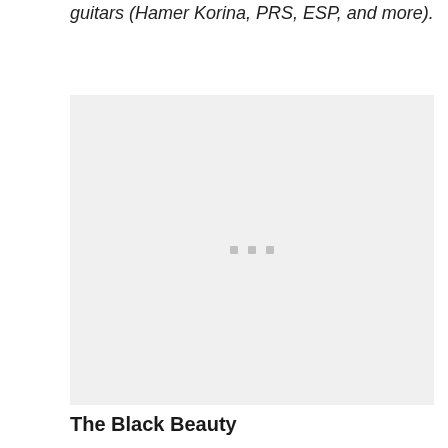guitars (Hamer Korina, PRS, ESP, and more).
[Figure (photo): Loading placeholder image with three small grey dots centered on a light grey background]
The Black Beauty